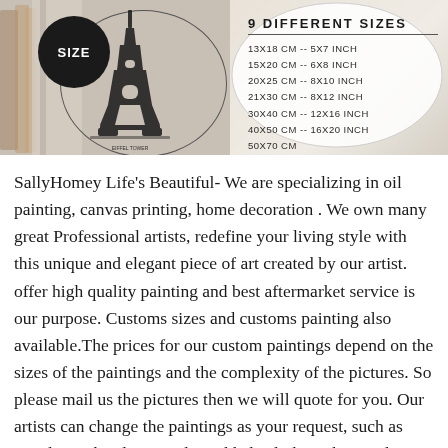[Figure (photo): Product image showing a painting/art print with a circular SIZE badge and an Eiffel Tower illustration. On the right side, a white oval lists '9 DIFFERENT SIZES': 13X18 CM -- 5X7 INCH, 15X20 CM -- 6X8 INCH, 20X25 CM -- 8X10 INCH, 21X30 CM -- 8X12 INCH, 30X40 CM -- 12X16 INCH, 40X50 CM -- 16X20 INCH, 50X70 CM, 60X80 CM, 60X100 CM.]
SallyHomey Life's Beautiful- We are specializing in oil painting, canvas printing, home decoration . We own many great Professional artists, redefine your living style with this unique and elegant piece of art created by our artist. offer high quality painting and best aftermarket service is our purpose. Customs sizes and customs painting also available.The prices for our custom paintings depend on the sizes of the paintings and the complexity of the pictures. So please mail us the pictures then we will quote for you. Our artists can change the paintings as your request, such as people can be eliminated or added. Clothing, hair and eye color and backgrounds can be changed. We can even combine two photos to make one painting. Please